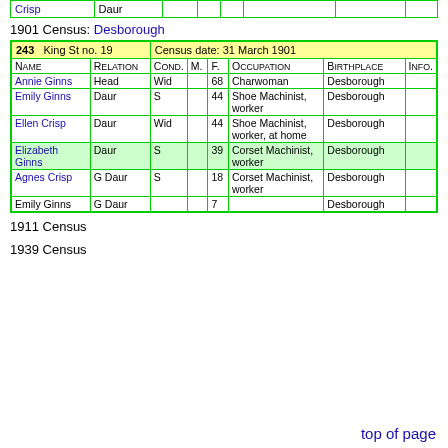| Name | Relation |
| --- | --- |
| Crisp | Daur |
1901 Census: Desborough
| 243 | King St no. 19 |  |  |  | Census date: 31 March 1901 |  |  |
| --- | --- | --- | --- | --- | --- | --- | --- |
| Name | Relation | Cond. | M. | F. | Occupation | Birthplace | Info. |
| Annie Ginns | Head | Wid |  | 68 | Charwoman | Desborough |  |
| Emily Ginns | Daur | S |  | 44 | Shoe Machinist, worker | Desborough |  |
| Ellen Crisp | Daur | Wid |  | 44 | Shoe Machinist, worker, at home | Desborough |  |
| Elizabeth Ginns | Daur | S |  | 39 | Corset Machinist, worker | Desborough |  |
| Agnes Crisp | G Daur | S |  | 18 | Corset Machinist, worker | Desborough |  |
| Emily Ginns | G Daur |  |  | 7 |  | Desborough |  |
1911 Census
1939 Census
top of page